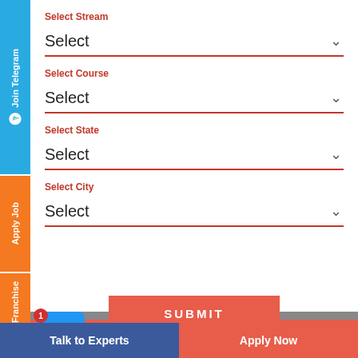Select Stream
Select
Select Course
Select
Select State
Select
Select City
Select
SUBMIT
Latest News
Join Telegram
Apply Job
Apply Franchise
Talk to Experts
Apply Now